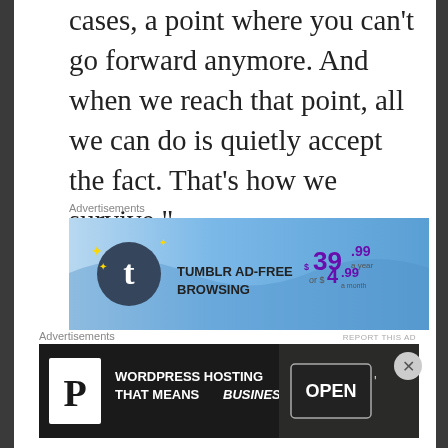cases, a point where you can't go forward anymore. And when we reach that point, all we can do is quietly accept the fact. That's how we survive.”
Advertisements
[Figure (screenshot): Tumblr Ad-Free Browsing advertisement banner. Blue gradient background with Tumblr 't' logo. Text: TUMBLR AD-FREE BROWSING $39.99 a year or $4.99 a month]
REPORT THIS AD
The character of Miss Saeki is portrayed as a shell of a human being. Her essence, her spirit, is stuck in a time when she was
Advertisements
[Figure (screenshot): WordPress Hosting advertisement banner. Black background with P logo. Text: WORDPRESS HOSTING THAT MEANS BUSINESS. Photo of OPEN sign on right side.]